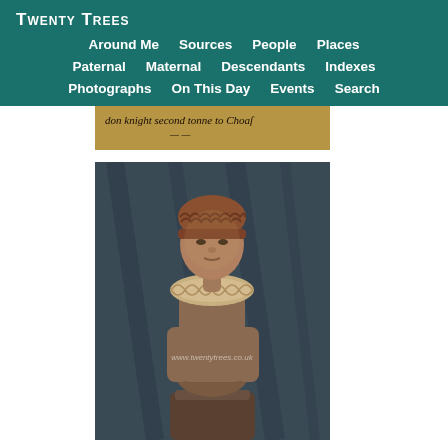Twenty Trees
Around Me  Sources  People  Places  Paternal  Maternal  Descendants  Indexes  Photographs  On This Day  Events  Search
[Figure (photo): Partial view of a historical manuscript with old English script reading 'don knight second tonne to Choas' and partial text below]
[Figure (photo): Wooden carved statue or effigy of a Tudor-era figure seated, with a ruff collar and striped headdress, bronze/brown tones. Watermark reads www.twentytrees.co.uk]